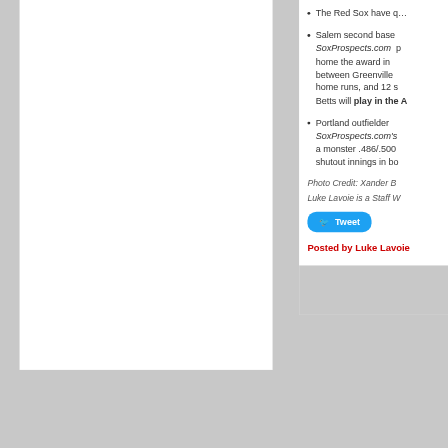The Red Sox have q…
Salem second baseman… SoxProspects.com picked him… home the award in… between Greenville… home runs, and 12 s… Betts will play in the A…
Portland outfielder… SoxProspects.com's… a monster .486/.500… shutout innings in bo…
Photo Credit: Xander B…
Luke Lavoie is a Staff W…
Tweet
Posted by Luke Lavoie…